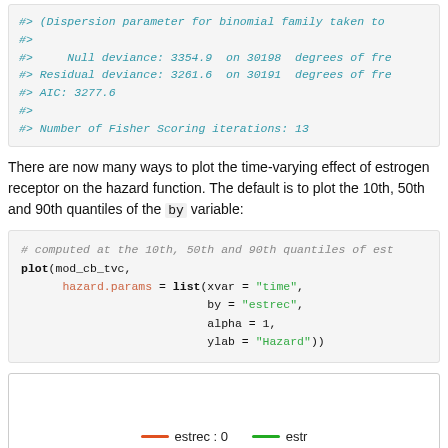#> (Dispersion parameter for binomial family taken to
#>
#>     Null deviance: 3354.9  on 30198  degrees of fre
#> Residual deviance: 3261.6  on 30191  degrees of fre
#> AIC: 3277.6
#>
#> Number of Fisher Scoring iterations: 13
There are now many ways to plot the time-varying effect of estrogen receptor on the hazard function. The default is to plot the 10th, 50th and 90th quantiles of the by variable:
# computed at the 10th, 50th and 90th quantiles of est
plot(mod_cb_tvc,
     hazard.params = list(xvar = "time",
                          by = "estrec",
                          alpha = 1,
                          ylab = "Hazard"))
[Figure (other): Plot box showing legend with colored lines: red line labeled 'estrec : 0', green line labeled 'estr...' (cut off)]